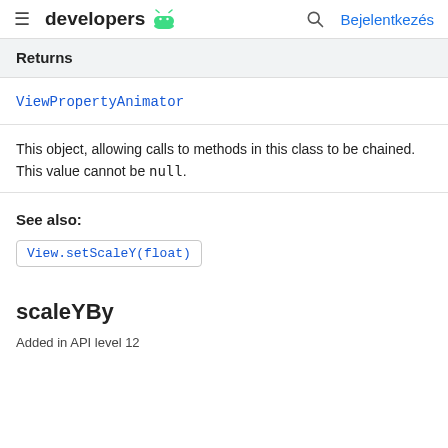developers
Returns
ViewPropertyAnimator
This object, allowing calls to methods in this class to be chained. This value cannot be null.
See also:
View.setScaleY(float)
scaleYBy
Added in API level 12